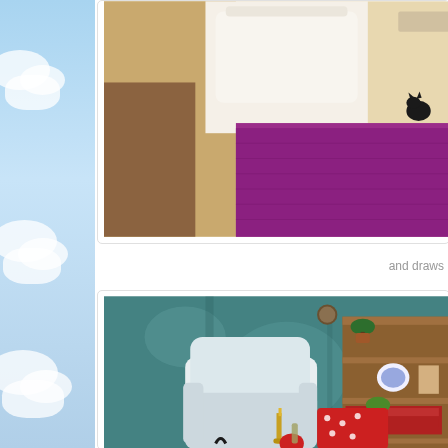[Figure (photo): Top photo showing a dollhouse or miniature room scene with white ornate furniture/bedframe and bright purple/magenta carpet or fabric, with a small black cat figure visible]
and draws
[Figure (photo): Bottom photo showing a miniature room scene with a teal/blue distressed wall background, a white armchair, wooden shelving unit with small decorative items, red polka dot fabric, and brass candlesticks]